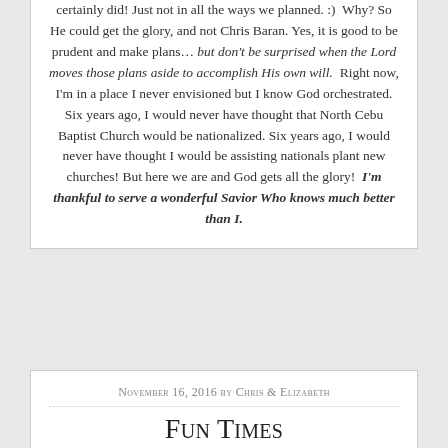certainly did! Just not in all the ways we planned. :)  Why? So He could get the glory, and not Chris Baran. Yes, it is good to be prudent and make plans… but don't be surprised when the Lord moves those plans aside to accomplish His own will.  Right now, I'm in a place I never envisioned but I know God orchestrated. Six years ago, I would never have thought that North Cebu Baptist Church would be nationalized. Six years ago, I would never have thought I would be assisting nationals plant new churches! But here we are and God gets all the glory!  I'm thankful to serve a wonderful Savior Who knows much better than I.
November 16, 2016 by Chris & Elizabeth
Fun Times
No comments yet
Categories: Updates  Tags: Adventures, Education